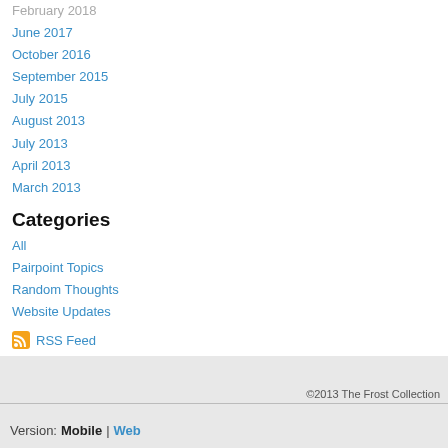February 2018
June 2017
October 2016
September 2015
July 2015
August 2013
July 2013
April 2013
March 2013
Categories
All
Pairpoint Topics
Random Thoughts
Website Updates
RSS Feed
©2013 The Frost Collection
Version: Mobile | Web